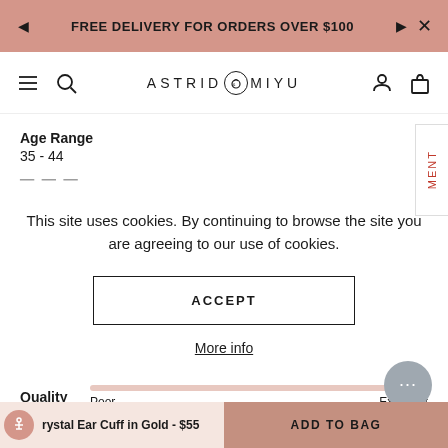FREE DELIVERY FOR ORDERS OVER $100
[Figure (screenshot): Astrid & Miyu navigation bar with hamburger menu, search, logo, user and bag icons]
Age Range
35 - 44
This site uses cookies. By continuing to browse the site you are agreeing to our use of cookies.
ACCEPT
More info
Quality
Poor
Excellent
rystal Ear Cuff in Gold - $55  |  ADD TO BAG